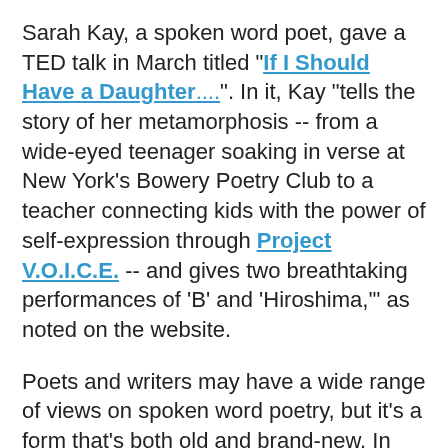Sarah Kay, a spoken word poet, gave a TED talk in March titled "If I Should Have a Daughter....". In it, Kay "tells the story of her metamorphosis -- from a wide-eyed teenager soaking in verse at New York's Bowery Poetry Club to a teacher connecting kids with the power of self-expression through Project V.O.I.C.E. -- and gives two breathtaking performances of 'B' and 'Hiroshima,'" as noted on the website.
Poets and writers may have a wide range of views on spoken word poetry, but it's a form that's both old and brand-new. In my creative writing classes, I show clips of today's best spoken word performers so my students can get a sense of the spectrum of poetry being presented today.
At the SMSU Marshall Festival 2010 last fall, writer and spoken word poet Ed Bok Lee gave an electrifying performance. Here's what's been written about Lee: